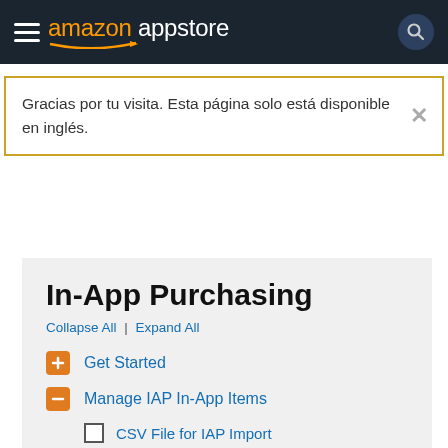amazon appstore
Gracias por tu visita. Esta página solo está disponible en inglés.
In-App Purchasing
Collapse All | Expand All
+ Get Started
- Manage IAP In-App Items
☐ CSV File for IAP Import
☐ IAP Batch Submission
☐ FAQs for IAP Batch Submission